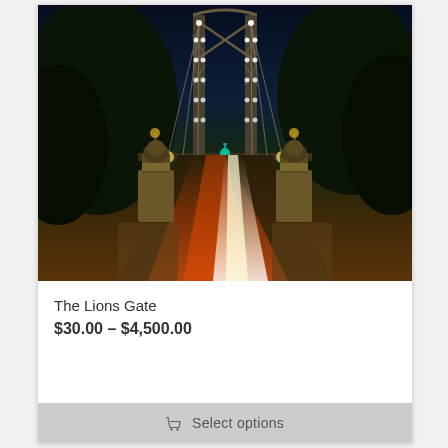[Figure (photo): Night photograph of The Lions Gate Bridge in Vancouver, with long-exposure light trails from cars creating white and orange streaks on the road. The illuminated bridge towers glow against a dark sky, with trees on both sides and lion statues at the entrance.]
The Lions Gate
$30.00 – $4,500.00
Select options